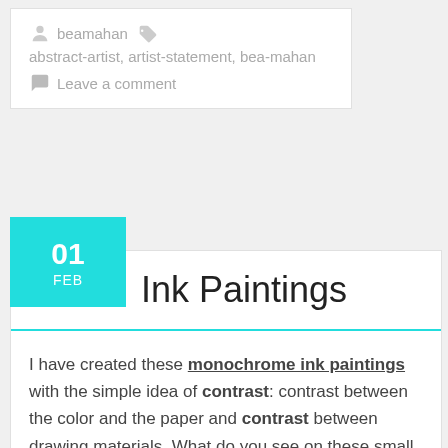beamahan   abstract-artist, artist-statement, bea-mahan
Leave a comment
01 FEB
Ink Paintings
I have created these monochrome ink paintings with the simple idea of contrast: contrast between the color and the paper and contrast between drawing materials. What do you see on these small paintings? Do you try to find a significance on the image or do